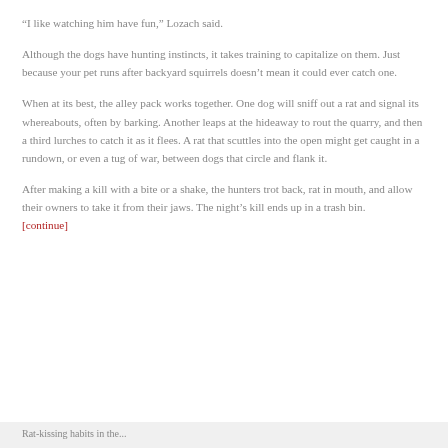“I like watching him have fun,” Lozach said.
Although the dogs have hunting instincts, it takes training to capitalize on them. Just because your pet runs after backyard squirrels doesn’t mean it could ever catch one.
When at its best, the alley pack works together. One dog will sniff out a rat and signal its whereabouts, often by barking. Another leaps at the hideaway to rout the quarry, and then a third lurches to catch it as it flees. A rat that scuttles into the open might get caught in a rundown, or even a tug of war, between dogs that circle and flank it.
After making a kill with a bite or a shake, the hunters trot back, rat in mouth, and allow their owners to take it from their jaws. The night’s kill ends up in a trash bin. [continue]
Rat-kissing habits in the...